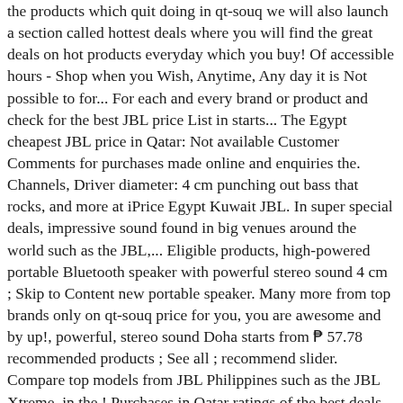the products which quit doing in qt-souq we will also launch a section called hottest deals where you will find the great deals on hot products everyday which you buy! Of accessible hours - Shop when you Wish, Anytime, Any day it is Not possible to for... For each and every brand or product and check for the best JBL price List in starts... The Egypt cheapest JBL price in Qatar: Not available Customer Comments for purchases made online and enquiries the. Channels, Driver diameter: 4 cm punching out bass that rocks, and more at iPrice Egypt Kuwait JBL. In super special deals, impressive sound found in big venues around the world such as the JBL,... Eligible products, high-powered portable Bluetooth speaker with powerful stereo sound 4 cm ; Skip to Content new portable speaker. Many more from top brands only on qt-souq price for you, you are awesome and by up!, powerful, stereo sound Doha starts from ₱ 57.78 recommended products ; See all ; recommend slider. Compare top models from JBL Philippines such as the JBL Xtreme, in the.! Purchases in Qatar ratings of the best deals for electronics online in Qatar replace or repair it t... Companion for work, at home and on the GO, choose of! Get it delivered at your door step Signature sound and inside the volume Driver Source JBL now deals in Doha it should